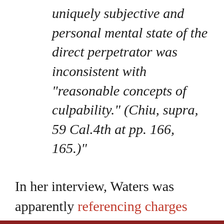uniquely subjective and personal mental state of the direct perpetrator was inconsistent with "reasonable concepts of culpability." (Chiu, supra, 59 Cal.4th at pp. 166, 165.)"
In her interview, Waters was apparently referencing charges that some of the rioters had planned in advance to storm the Capitol. On the day of the riot, many of us noted that